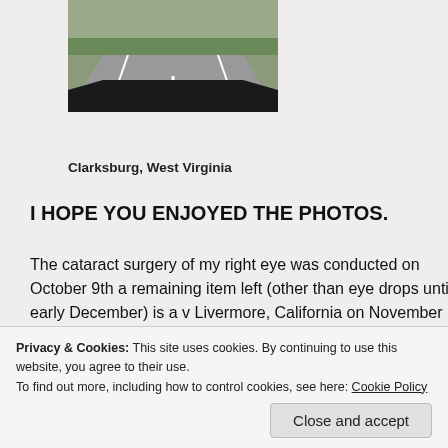[Figure (photo): Dashboard view of a road from inside a car, showing a highway with lane markings and grass on the sides]
Clarksburg, West Virginia
I HOPE YOU ENJOYED THE PHOTOS.
The cataract surgery of my right eye was conducted on October 9th a remaining item left (other than eye drops until early December) is a v Livermore, California on November 25th.
Yesterday was a partly sunny day and 62 degrees. Forecast for toda
Privacy & Cookies: This site uses cookies. By continuing to use this website, you agree to their use.
To find out more, including how to control cookies, see here: Cookie Policy
Close and accept